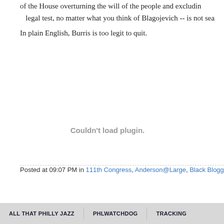of the House overturning the will of the people and excluding... legal test, no matter what you think of Blagojevich -- is not sea...
In plain English, Burris is too legit to quit.
[Figure (other): Couldn't load plugin. placeholder area]
Posted at 09:07 PM in 111th Congress, Anderson@Large, Black Blogg...
ALL THAT PHILLY JAZZ   PHLWATCHDOG   TRACKING